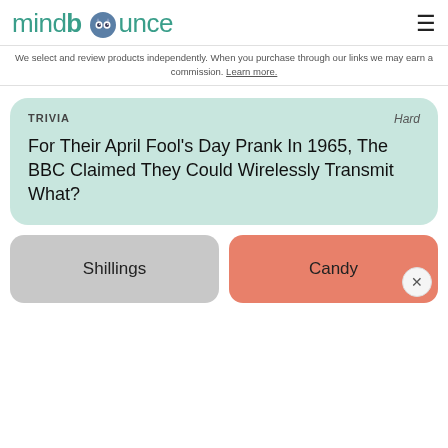mindbounce
We select and review products independently. When you purchase through our links we may earn a commission. Learn more.
TRIVIA
Hard
For Their April Fool's Day Prank In 1965, The BBC Claimed They Could Wirelessly Transmit What?
Shillings
Candy